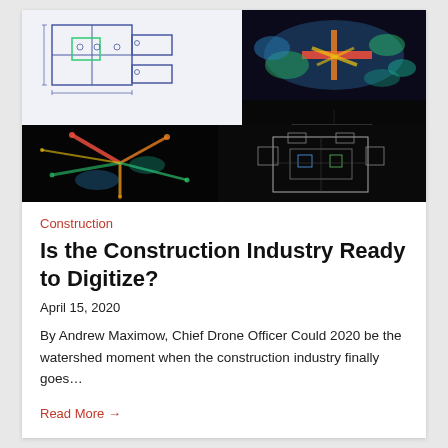[Figure (photo): Composite image grid of construction digitization visuals: top-left shows a blueprint/CAD floor plan on white background; top-right top shows a colorful heat map point cloud (lidar scan) with red, yellow, green, blue colors; top-right bottom shows a dark wireframe scan of a building plan; bottom-left shows a lidar point cloud with red/green/yellow tree/structure on dark background; bottom-right shows a dark ground plan with white outlines.]
Construction
Is the Construction Industry Ready to Digitize?
April 15, 2020
By Andrew Maximow, Chief Drone Officer Could 2020 be the watershed moment when the construction industry finally goes...
Read More →